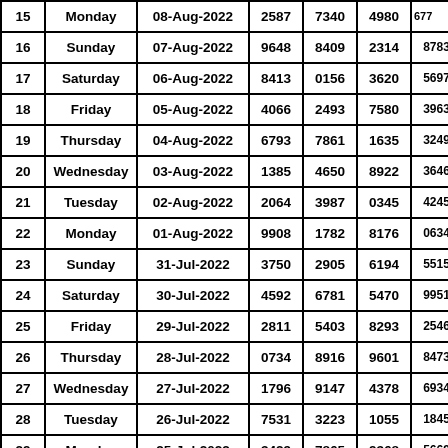| 15 | Monday | 08-Aug-2022 | 2587 | 7340 | 4980 | 677... |
| 16 | Sunday | 07-Aug-2022 | 9648 | 8409 | 2314 | 8783 |
| 17 | Saturday | 06-Aug-2022 | 8413 | 0156 | 3620 | 5697 |
| 18 | Friday | 05-Aug-2022 | 4066 | 2493 | 7580 | 3963 |
| 19 | Thursday | 04-Aug-2022 | 6793 | 7861 | 1635 | 3249 |
| 20 | Wednesday | 03-Aug-2022 | 1385 | 4650 | 8922 | 3646 |
| 21 | Tuesday | 02-Aug-2022 | 2064 | 3987 | 0345 | 4245 |
| 22 | Monday | 01-Aug-2022 | 9908 | 1782 | 8176 | 0634 |
| 23 | Sunday | 31-Jul-2022 | 3750 | 2905 | 6194 | 5515 |
| 24 | Saturday | 30-Jul-2022 | 4592 | 6781 | 5470 | 9951 |
| 25 | Friday | 29-Jul-2022 | 2811 | 5403 | 8293 | 2546 |
| 26 | Thursday | 28-Jul-2022 | 0734 | 8916 | 9601 | 8473 |
| 27 | Wednesday | 27-Jul-2022 | 1796 | 9147 | 4378 | 6934 |
| 28 | Tuesday | 26-Jul-2022 | 7531 | 3223 | 1055 | 1845 |
| 29 | Monday | 25-Jul-2022 | 3429 | 7865 | 9368 | 5669 |
| 30 |  |  |  |  |  | 3249 |